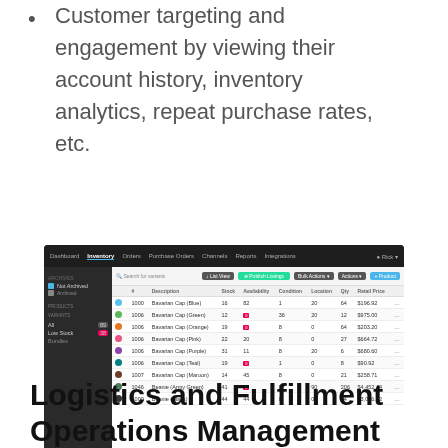Customer targeting and engagement by viewing their account history, inventory analytics, repeat purchase rates, etc.
[Figure (screenshot): Screenshot of an inventory management software UI showing a dark sidebar with archived products and a main area with a table listing Bavarian Cap products (Blue, Green, Orange, Pink, Purple, Teal, Maroon, Beanie Army Green, Beanie Black) with columns for SKU, product name, stock, availability, condition, location, qty, and price.]
Logistics and Fulfillment Operations Management